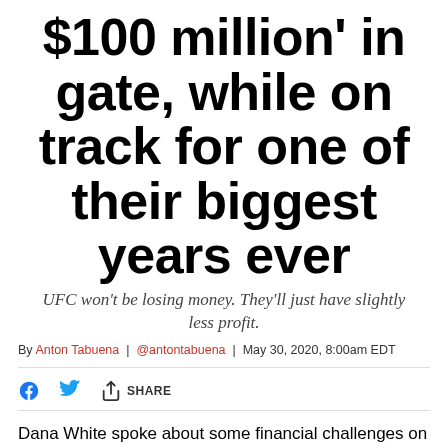$100 million' in gate, while on track for one of their biggest years ever
UFC won't be losing money. They'll just have slightly less profit.
By Anton Tabuena | @antontabuena | May 30, 2020, 8:00am EDT
SHARE
Dana White spoke about some financial challenges on a recent media scrum. It's where he revealed that the UFC will "lose over $100 million" in 2020 because of